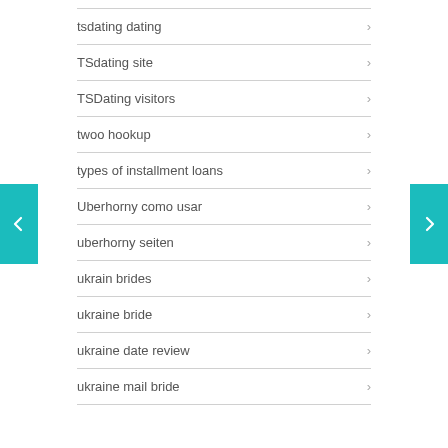tsdating dating
TSdating site
TSDating visitors
twoo hookup
types of installment loans
Uberhorny como usar
uberhorny seiten
ukrain brides
ukraine bride
ukraine date review
ukraine mail bride